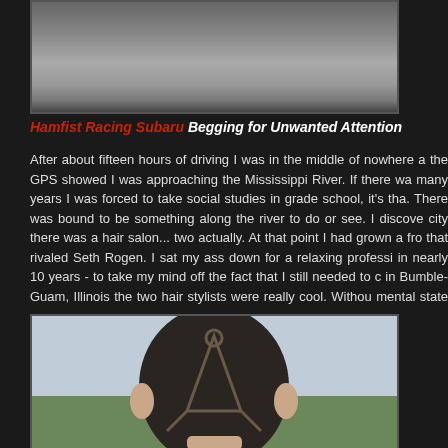[Figure (photo): Top portion of a photo showing a grey/concrete surface, partially visible, cut off at top of page]
Hamfist Racing Subaru Begging for Unwanted Attention
After about fifteen hours of driving I was in the middle of nowhere and the GPS showed I was approaching the Mississippi River. If there was many years I was forced to take social studies in grade school, it's tha. There was bound to be something along the river to do or see. I discove city there was a hair salon... two actually. At that point I had grown a fro that rivaled Seth Rogen. I sat my ass down for a relaxing professi in nearly 10 years - to take my mind off the fact that I still needed to in Bumble-Guam, Illinois the two hair stylists were really cool. Witho mental state – they carved the mysterious pylon into my head.
[Figure (photo): Photo of the back of a person's head showing a pylon/triangle shape carved/shaved into their hair, against a background of green fields and sky]